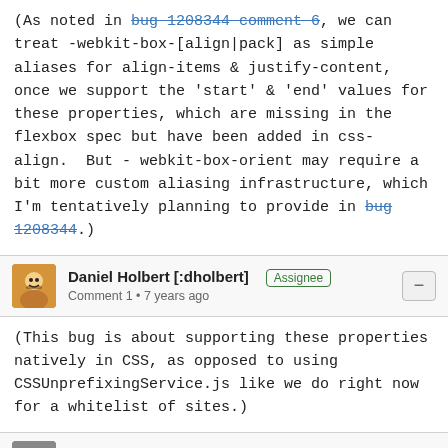(As noted in bug 1208344 comment 6, we can treat -webkit-box-[align|pack] as simple aliases for align-items & justify-content, once we support the 'start' & 'end' values for these properties, which are missing in the flexbox spec but have been added in css-align.  But -webkit-box-orient may require a bit more custom aliasing infrastructure, which I'm tentatively planning to provide in bug 1208344.)
Daniel Holbert [:dholbert] Assignee
Comment 1 • 7 years ago
(This bug is about supporting these properties natively in CSS, as opposed to using CSSUnprefixingService.js like we do right now for a whitelist of sites.)
Jean-Yves Perrier [:teoli]
Comment 2 • 7 years ago